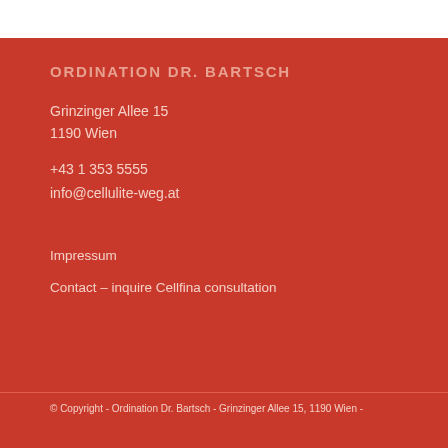ORDINATION DR. BARTSCH
Grinzinger Allee 15
1190 Wien
+43 1 353 5555
info@cellulite-weg.at
Impressum
Contact – inquire Cellfina consultation
© Copyright - Ordination Dr. Bartsch - Grinzinger Allee 15, 1190 Wien -